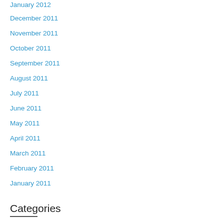January 2012
December 2011
November 2011
October 2011
September 2011
August 2011
July 2011
June 2011
May 2011
April 2011
March 2011
February 2011
January 2011
Categories